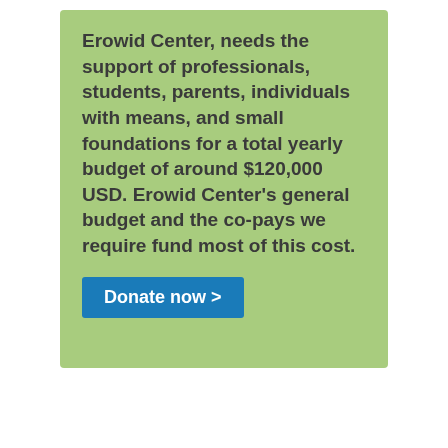Erowid Center, needs the support of professionals, students, parents, individuals with means, and small foundations for a total yearly budget of around $120,000 USD. Erowid Center's general budget and the co-pays we require fund most of this cost.
Donate now >